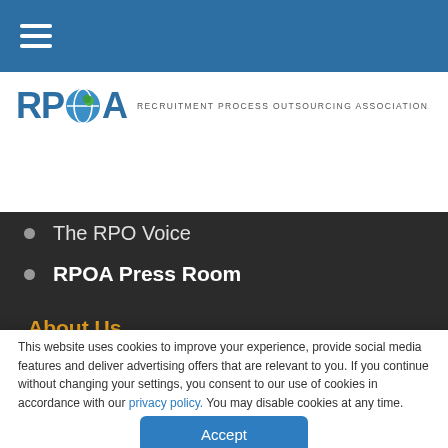Navigation bar with hamburger menu
[Figure (logo): RPOA logo — letters RP, globe icon, A, followed by text RECRUITMENT PROCESS OUTSOURCING ASSOCIATION]
The RPO Voice
RPOA Press Room
About Us
We are a professional membership association
This website uses cookies to improve your experience, provide social media features and deliver advertising offers that are relevant to you. If you continue without changing your settings, you consent to our use of cookies in accordance with our privacy policy. You may disable cookies at any time.
Accept